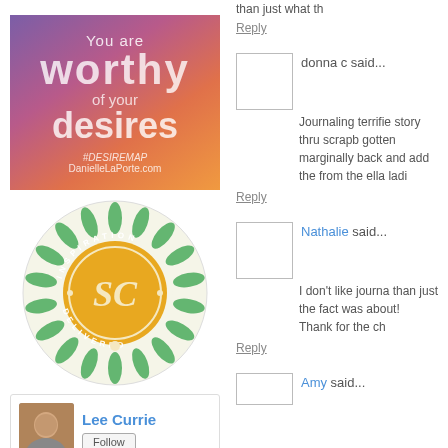[Figure (illustration): Desire Map promotional banner with gradient background (purple to orange). Text reads: You are worthy of your desires. #DESIREMAP DanielleLaPorte.com]
[Figure (logo): SC Inspiration Delivered circular badge/logo with green floral design and gold center]
[Figure (other): Lee Currie profile card with avatar photo, Follow button, and stats: 138 and 258]
than just what th
Reply
donna c said...
Journaling terrifie story thru scrapb gotten marginally back and add the from the ella ladi
Reply
Nathalie said...
I don't like journa than just the fact was about! Thank for the ch
Reply
Amy said...